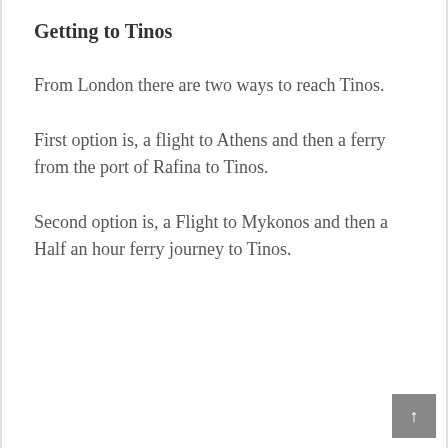Getting to Tinos
From London there are two ways to reach Tinos.
First option is, a flight to Athens and then a ferry from the port of Rafina to Tinos.
Second option is, a Flight to Mykonos and then a Half an hour ferry journey to Tinos.